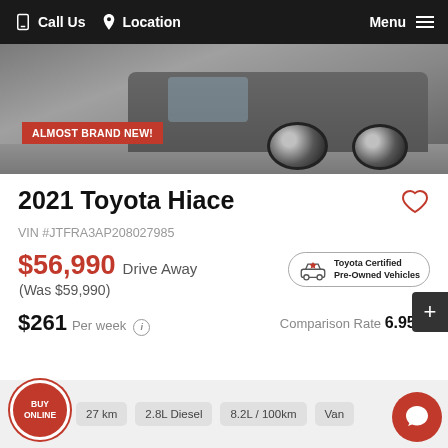Call Us    Location    Menu
[Figure (photo): Car photo showing wheels of a Toyota Hiace, with a red badge overlay reading 'ALMOST BRAND NEW!']
2021 Toyota Hiace
VIN #JTFRA3AP208027985
$56,990 Drive Away (Was $59,990)
Toyota Certified Pre-Owned Vehicles
$261 Per week  Comparison Rate 6.95%
27 km
2.8L Diesel
8.2L / 100km
Van